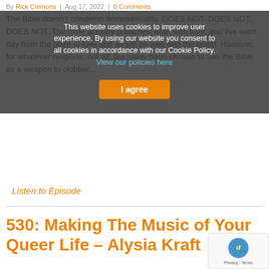By Rick Clemons | Aug 17, 2022 | 0 Comments
This website uses cookies to improve user experience. By using our website you consent to all cookies in accordance with our Cookie Policy. View our policies here [I agree]
The Bible doesn't condemn homosexuality. DOES NOT. DOES NOT. DOES NOT. The bible actually preaches, start with love, and live each day from the point of love and all will be well with the world. However, for whatever religions, not all, but many have chosen to use the Bible as a weapon to clobber...
Listen to Episode
530: Making The Music of Your Queer Life – Alysia Kraft